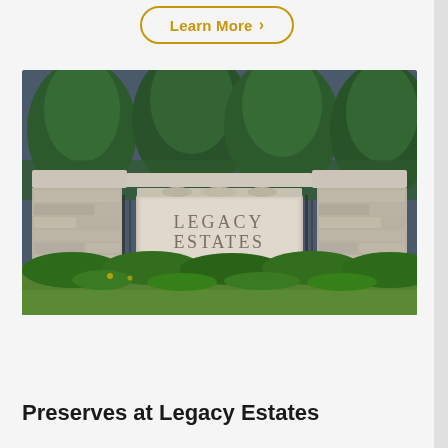Learn More →
[Figure (photo): Stone entrance monument sign reading 'Legacy Estates' with ornamental stonework, wrought iron gates, evergreen trees and shrubs in background, green lawn in foreground.]
Preserves at Legacy Estates